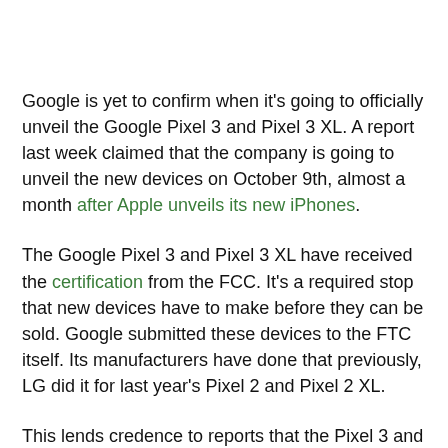Google is yet to confirm when it's going to officially unveil the Google Pixel 3 and Pixel 3 XL. A report last week claimed that the company is going to unveil the new devices on October 9th, almost a month after Apple unveils its new iPhones.
The Google Pixel 3 and Pixel 3 XL have received the certification from the FCC. It's a required stop that new devices have to make before they can be sold. Google submitted these devices to the FTC itself. Its manufacturers have done that previously, LG did it for last year's Pixel 2 and Pixel 2 XL.
This lends credence to reports that the Pixel 3 and